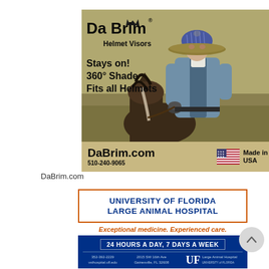[Figure (illustration): DaBrim Helmet Visors advertisement showing a rider wearing a helmet with a wide brim visor next to a horse, with text: 'Stays on! 360° Shade Fits all Helmets', website DaBrim.com, phone 510-240-9065, and Made in USA flag]
DaBrim.com
[Figure (illustration): University of Florida Large Animal Hospital advertisement. Text: 'UNIVERSITY OF FLORIDA LARGE ANIMAL HOSPITAL', 'Exceptional medicine. Experienced care.', '24 HOURS A DAY, 7 DAYS A WEEK', contact info 352-392-2229, vsthospital.ufl.edu, 2015 SW 16th Ave Gainesville FL 32608, UF Large Animal Hospital University of Florida logo]